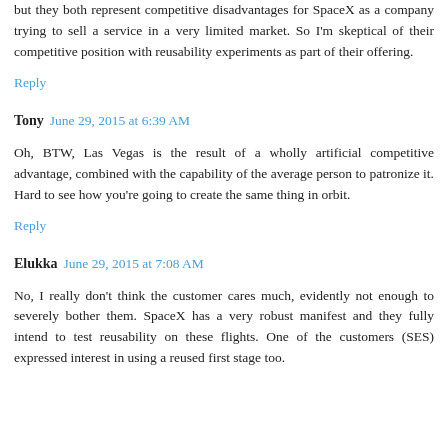but they both represent competitive disadvantages for SpaceX as a company trying to sell a service in a very limited market. So I'm skeptical of their competitive position with reusability experiments as part of their offering.
Reply
Tony  June 29, 2015 at 6:39 AM
Oh, BTW, Las Vegas is the result of a wholly artificial competitive advantage, combined with the capability of the average person to patronize it. Hard to see how you're going to create the same thing in orbit.
Reply
Elukka  June 29, 2015 at 7:08 AM
No, I really don't think the customer cares much, evidently not enough to severely bother them. SpaceX has a very robust manifest and they fully intend to test reusability on these flights. One of the customers (SES) expressed interest in using a reused first stage too.